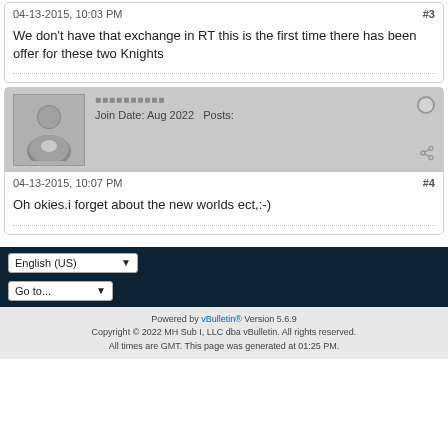04-13-2015, 10:03 PM
#3
We don't have that exchange in RT this is the first time there has been offer for these two Knights
[Figure (photo): Default user avatar silhouette placeholder image]
■■■■■■■■■■
Join Date: Aug 2022   Posts:
04-13-2015, 10:07 PM
#4
Oh okies.i forget about the new worlds ect,:-)
English (US)
Go to...
Powered by vBulletin® Version 5.6.9
Copyright © 2022 MH Sub I, LLC dba vBulletin. All rights reserved.
All times are GMT. This page was generated at 01:25 PM.